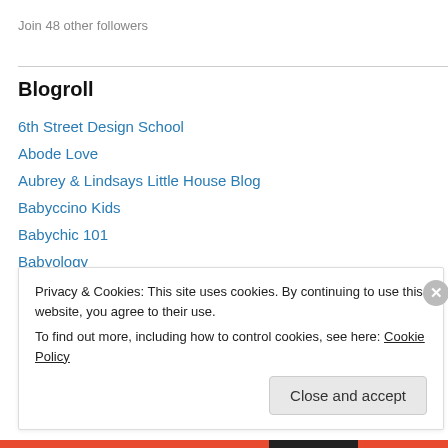Join 48 other followers
Blogroll
6th Street Design School
Abode Love
Aubrey & Lindsays Little House Blog
Babyccino Kids
Babychic 101
Babyology
Beantown Baker
Christina and Michael
Privacy & Cookies: This site uses cookies. By continuing to use this website, you agree to their use.
To find out more, including how to control cookies, see here: Cookie Policy
Close and accept